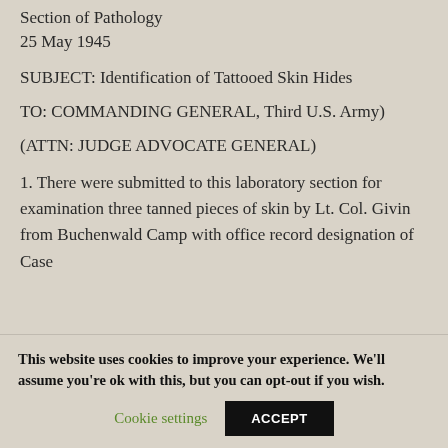Section of Pathology
25 May 1945
SUBJECT: Identification of Tattooed Skin Hides
TO: COMMANDING GENERAL, Third U.S. Army)
(ATTN: JUDGE ADVOCATE GENERAL)
1. There were submitted to this laboratory section for examination three tanned pieces of skin by Lt. Col. Givin from Buchenwald Camp with office record designation of Case
This website uses cookies to improve your experience. We'll assume you're ok with this, but you can opt-out if you wish.
Cookie settings
ACCEPT